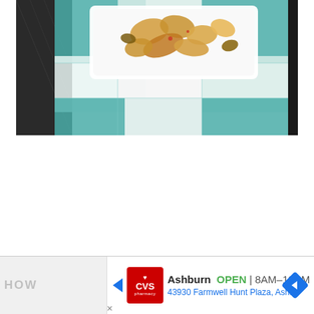[Figure (photo): Overhead photo of a white rectangular plate with snack chips/crackers and nuts on a teal and white checkered placemat with a dark woven mat underneath]
[Figure (screenshot): Advertisement banner showing CVS Pharmacy logo, text 'Ashburn OPEN 8AM-12AM', address '43930 Farmwell Hunt Plaza, Ash...', with navigation arrow icon. Partially visible text 'HOW' on left and 'ESE' on right.]